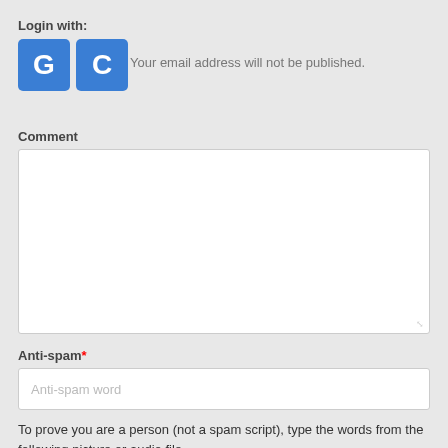Login with:
[Figure (other): Two blue social login buttons with letters G and C]
Your email address will not be published.
Comment
[Figure (other): Empty comment text area input field]
Anti-spam*
[Figure (other): Anti-spam word text input field with placeholder text]
To prove you are a person (not a spam script), type the words from the following picture or audio file.
[Figure (other): CAPTCHA image with distorted text and audio icon]